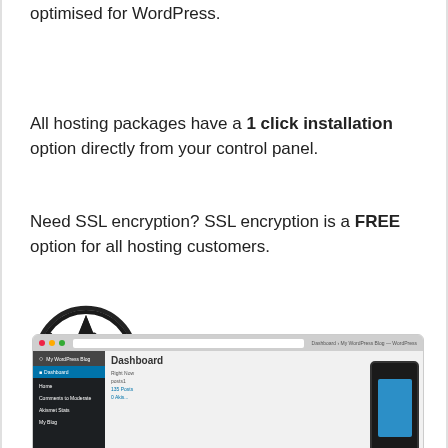optimised for WordPress.
All hosting packages have a 1 click installation option directly from your control panel.
Need SSL encryption? SSL encryption is a FREE option for all hosting customers.
[Figure (logo): WordPress logo with circle W icon and WORDPRESS text in bold]
[Figure (screenshot): Screenshot of WordPress Dashboard in a browser window alongside a smartphone displaying the WordPress mobile app]